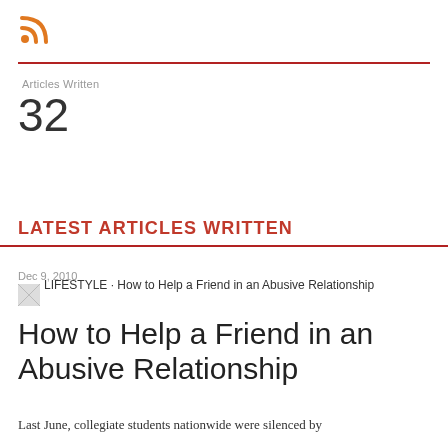[Figure (logo): Orange RSS feed icon]
Articles Written
32
LATEST ARTICLES WRITTEN
Dec 9, 2010
[Figure (photo): Small thumbnail image placeholder]
LIFESTYLE · How to Help a Friend in an Abusive Relationship
How to Help a Friend in an Abusive Relationship
Last June, collegiate students nationwide were silenced by